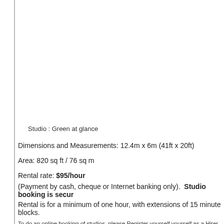Studio : Green at glance
Dimensions and Measurements: 12.4m x 6m (41ft x 20ft)
Area: 820 sq ft / 76 sq m
Rental rate: $95/hour
(Payment by cash, cheque or Internet banking only).  Studio booking is secur
Rental is for a minimum of one hour, with extensions of 15 minute blocks.
To do an online booking of studios, please Register yourself yourself as a Hirer.  Please click on the link